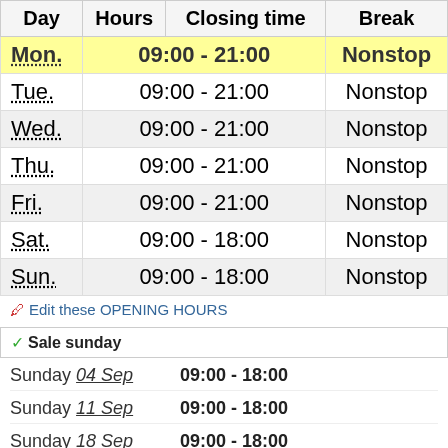| Day | Hours | Closing time | Break |
| --- | --- | --- | --- |
| Mon. | 09:00 - 21:00 |  | Nonstop |
| Tue. | 09:00 - 21:00 |  | Nonstop |
| Wed. | 09:00 - 21:00 |  | Nonstop |
| Thu. | 09:00 - 21:00 |  | Nonstop |
| Fri. | 09:00 - 21:00 |  | Nonstop |
| Sat. | 09:00 - 18:00 |  | Nonstop |
| Sun. | 09:00 - 18:00 |  | Nonstop |
Edit these OPENING HOURS
Sale sunday
Sunday 04 Sep  09:00 - 18:00
Sunday 11 Sep  09:00 - 18:00
Sunday 18 Sep  09:00 - 18:00